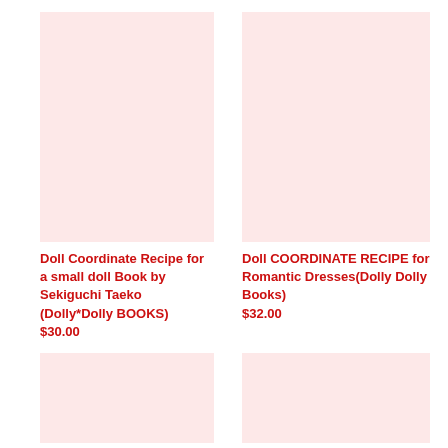[Figure (other): Book cover image placeholder – light pink rectangle, top-left product]
Doll Coordinate Recipe for a small doll Book by Sekiguchi Taeko (Dolly*Dolly BOOKS)
$30.00
[Figure (other): Book cover image placeholder – light pink rectangle, top-right product]
Doll COORDINATE RECIPE for Romantic Dresses(Dolly Dolly Books)
$32.00
[Figure (other): Book cover image placeholder – light pink rectangle, bottom-left product]
[Figure (other): Book cover image placeholder – light pink rectangle, bottom-right product]